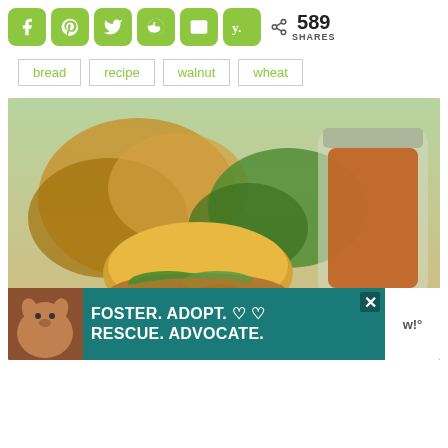[Figure (other): Social share bar with icons for Facebook, Pinterest, Twitter, Reddit, Email, and another platform. Share count shows 589 SHARES.]
bread
recipe
walnut
wheat
[Figure (photo): Food photo showing a pulled pork sandwich on a bun with cilantro and BBQ sauce on a white plate, with BBQ sauce in a glass jar and coleslaw visible, breads in background.]
[Figure (other): Advertisement banner with teal background showing a dog and text: FOSTER. ADOPT. RESCUE. ADVOCATE. with heart icons and a close button, and a white logo area on the right.]